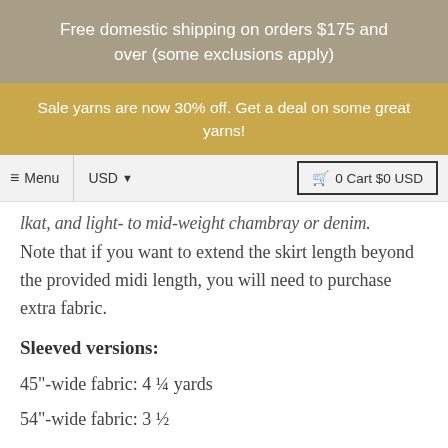Free domestic shipping on orders $175 and over (some exclusions apply)
Sale yarns are now 30% off. Get a deal on some great yarns!
≡ Menu  USD ▼   🛒 0 Cart $0 USD
lkat, and light- to mid-weight chambray or denim.
Note that if you want to extend the skirt length beyond the provided midi length, you will need to purchase extra fabric.
Sleeved versions:
45"-wide fabric: 4 ¼ yards
54"-wide fabric: 3 ½